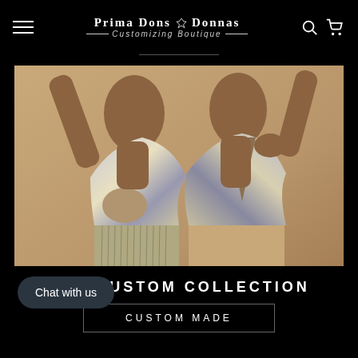Prima Dons ◆ Donnas — Customizing Boutique —
[Figure (photo): Two female models wearing matching silver/gold metallic halter dresses with fringe detail and open backs, posing against a neutral background]
CUSTOM COLLECTION
CUSTOM MADE
Chat with us